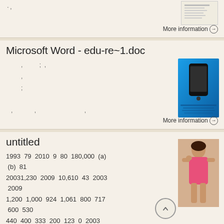· ,
More information →
Microsoft Word - edu-re~1.doc
, ; , , ; , , ,
More information →
untitled
1993 79 2010 9 80 180,000 (a) (b) 81 20031,230 2009 10,610 43 2003 2009 1,200 1,000 924 1,061 800 717 600 530 440 400 333 200 123 0 2003 2004 2005